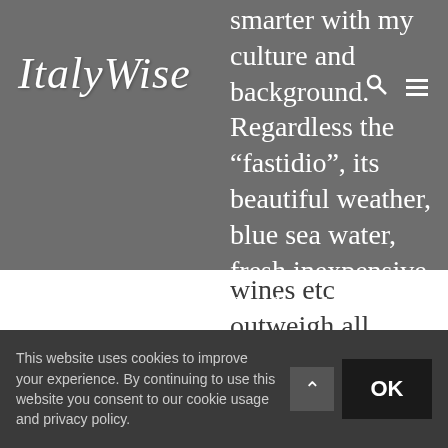ItalyWise
smarter with my culture and background. Regardless the “fastidio”, its beautiful weather, blue sea water, fresh inexpensive food and wines etc outweigh all. Copying what you said, I think for anybody who wants to move and live elsewhere, Italy or other countries, we have to get prepared to minimize shocks and try to adapt to the new environment as much as possible. Ciao and look
This website uses cookies to improve your experience. By continuing to use this website you consent to our cookie usage and privacy policy.